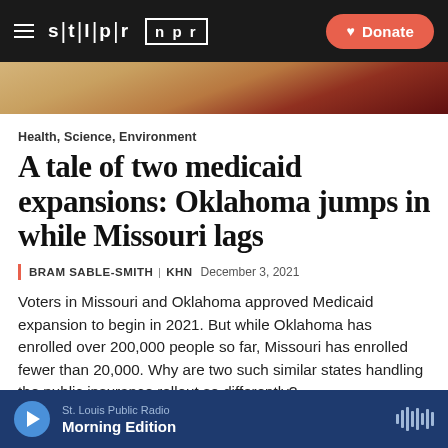stl|p|r  npr  Donate
[Figure (photo): Partial photo strip showing a person in a red jacket near a wooden cabinet, cropped to a narrow horizontal band]
Health, Science, Environment
A tale of two medicaid expansions: Oklahoma jumps in while Missouri lags
BRAM SABLE-SMITH | KHN  December 3, 2021
Voters in Missouri and Oklahoma approved Medicaid expansion to begin in 2021. But while Oklahoma has enrolled over 200,000 people so far, Missouri has enrolled fewer than 20,000. Why are two such similar states handling the public insurance rollout so differently?
St. Louis Public Radio  Morning Edition